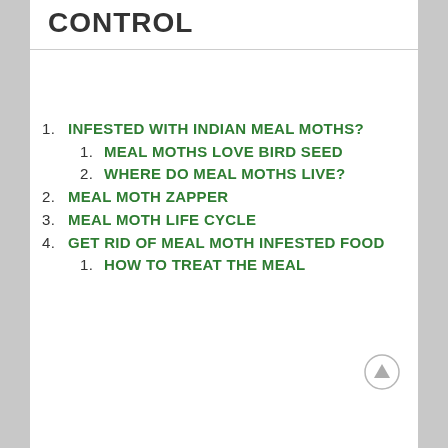CONTROL
1. INFESTED WITH INDIAN MEAL MOTHS?
1. MEAL MOTHS LOVE BIRD SEED
2. WHERE DO MEAL MOTHS LIVE?
2. MEAL MOTH ZAPPER
3. MEAL MOTH LIFE CYCLE
4. GET RID OF MEAL MOTH INFESTED FOOD
1. HOW TO TREAT THE MEAL